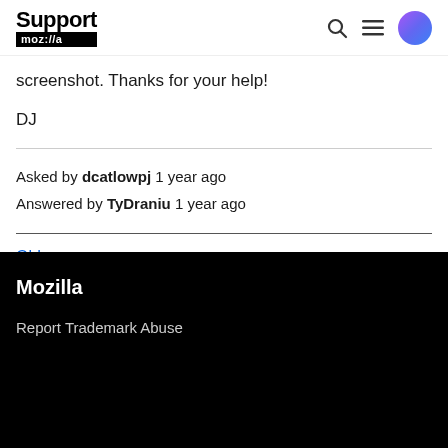Support moz://a
screenshot. Thanks for your help!

DJ
Asked by dcatlowpj 1 year ago
Answered by TyDraniu 1 year ago
Older
Mozilla
Report Trademark Abuse